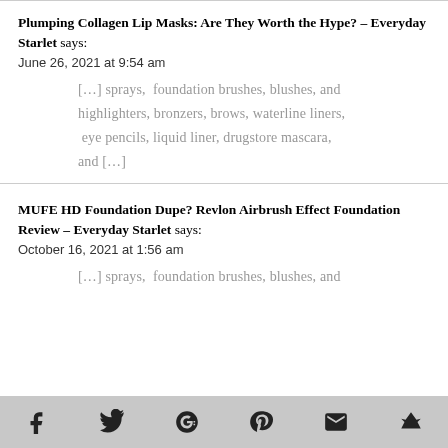Plumping Collagen Lip Masks: Are They Worth the Hype? – Everyday Starlet says:
June 26, 2021 at 9:54 am
[…] sprays,  foundation brushes, blushes, and highlighters, bronzers, brows, waterline liners,  eye pencils, liquid liner, drugstore mascara, and […]
MUFE HD Foundation Dupe? Revlon Airbrush Effect Foundation Review – Everyday Starlet says:
October 16, 2021 at 1:56 am
[…] sprays,  foundation brushes, blushes, and
social sharing icons: facebook, twitter, google+, pinterest, email, bookmark